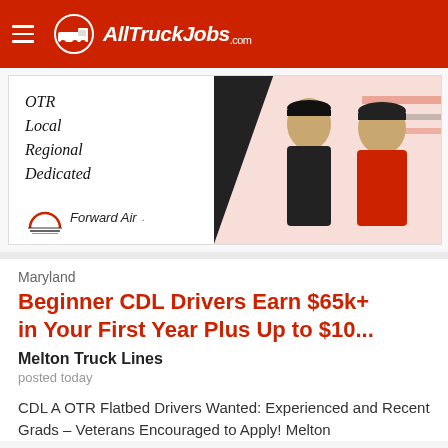AllTruckJobs.com
[Figure (photo): Forward Air advertisement banner showing two men in uniforms (one in black shirt, one in red shirt) with text: OTR Local Regional Dedicated and Forward Air logo]
Maryland
Beginner CDL Drivers Earn $65k+ in Your First Year Plus Up to $10...
Melton Truck Lines
posted today
CDL A OTR Flatbed Drivers Wanted: Experienced and Recent Grads – Veterans Encouraged to Apply! Melton